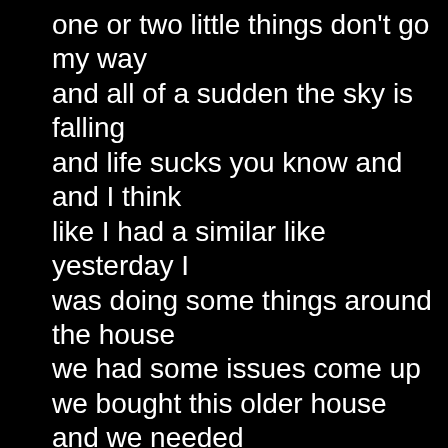one or two little things don't go my way and all of a sudden the sky is falling and life sucks you know and and I think like I had a similar like yesterday I was doing some things around the house we had some issues come up we bought this older house and we needed some work I'm changing a light fixture and I realized the electrics deteriorating behind the walls and of course immediately that turns into this emergency where I got to rip all the electric out of the house and replace all the wiring and so it's a older house and needs work and I'm doing that and I'm trying to take care of the dog cause